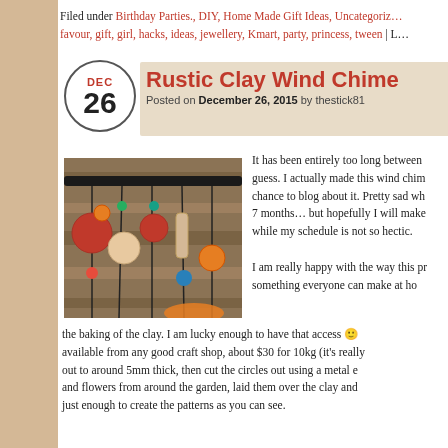Filed under Birthday Parties., DIY, Home Made Gift Ideas, Uncategoriz… favour, gift, girl, hacks, ideas, jewellery, Kmart, party, princess, tween | L…
Rustic Clay Wind Chime
Posted on December 26, 2015 by thestick81
[Figure (photo): Photo of a rustic clay wind chime with colorful clay discs and beads hanging from a dark rod against a wooden background]
It has been entirely too long between guess. I actually made this wind chim chance to blog about it. Pretty sad wh 7 months… but hopefully I will make while my schedule is not so hectic.

I am really happy with the way this pr something everyone can make at ho the baking of the clay. I am lucky enough to have that access 🙂 available from any good craft shop, about $30 for 10kg (it's really out to around 5mm thick, then cut the circles out using a metal e and flowers from around the garden, laid them over the clay and just enough to create the patterns as you can see.